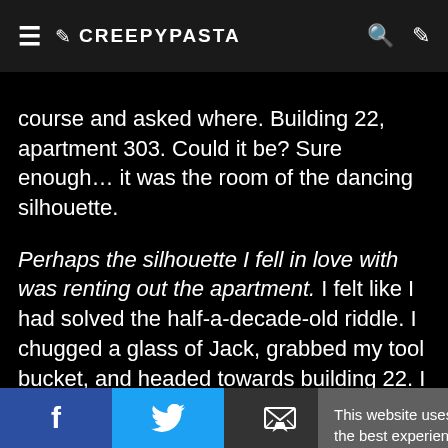CREEPYPASTA
course and asked where. Building 22, apartment 303. Could it be? Sure enough… it was the room of the dancing silhouette.
Perhaps the silhouette I fell in love with was renting out the apartment. I felt like I had solved the half-a-decade-old riddle. I chugged a glass of Jack, grabbed my tool bucket, and headed towards building 22. I looked on the directory for the apartment and discovered the owner's name was Hilda Good. I pre… buzzed in.
I decided to take… that way she mi…
This website uses cookies to ensure you get the best experience on our website. Read more
Got it!
f  Twitter  Email  +